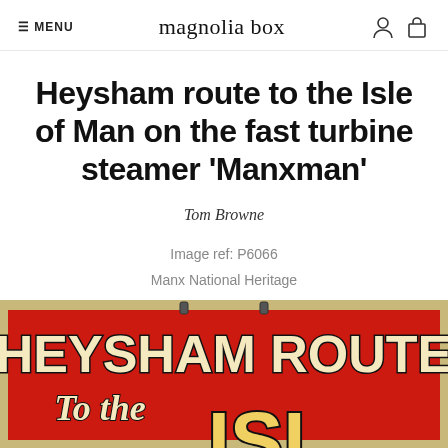≡ MENU   magnolia box
Heysham route to the Isle of Man on the fast turbine steamer 'Manxman'
Tom Browne
Image ref: P6066
Manx National Heritage
[Figure (photo): Vintage poster showing 'HEYSHAM ROUTE To the' text in large bold letters on a red background with cream/gold lettering and dark outline, with partial letters visible at the bottom edge.]